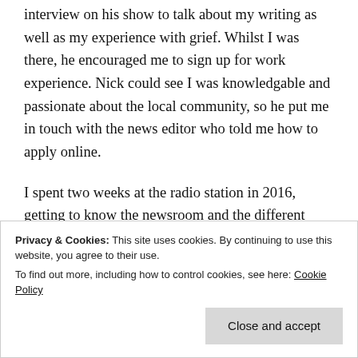interview on his show to talk about my writing as well as my experience with grief. Whilst I was there, he encouraged me to sign up for work experience. Nick could see I was knowledgable and passionate about the local community, so he put me in touch with the news editor who told me how to apply online.
I spent two weeks at the radio station in 2016, getting to know the newsroom and the different teams on the shows and I loved it from the moment I stepped in the door. I knew this was
Privacy & Cookies: This site uses cookies. By continuing to use this website, you agree to their use.
To find out more, including how to control cookies, see here: Cookie Policy
Broadcast Assistant as it was nearing the